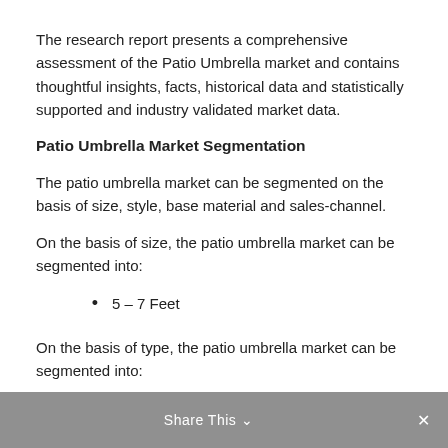The research report presents a comprehensive assessment of the Patio Umbrella market and contains thoughtful insights, facts, historical data and statistically supported and industry validated market data.
Patio Umbrella Market Segmentation
The patio umbrella market can be segmented on the basis of size, style, base material and sales-channel.
On the basis of size, the patio umbrella market can be segmented into:
5 – 7 Feet
5 – 10 Feet
> 10.5 Feet
On the basis of type, the patio umbrella market can be segmented into:
Share This ×